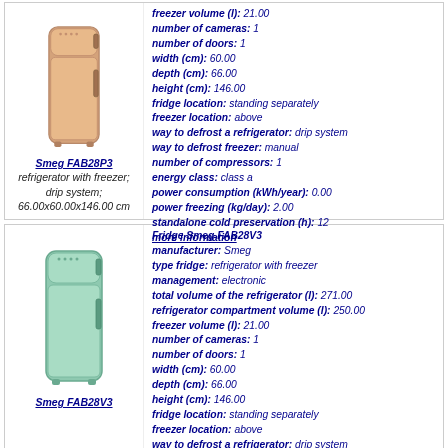[Figure (photo): Smeg FAB28P3 refrigerator in rose/gold color, retro style, standing upright]
Smeg FAB28P3 refrigerator with freezer; drip system; 66.00x60.00x146.00 cm
freezer volume (l): 21.00 | number of cameras: 1 | number of doors: 1 | width (cm): 60.00 | depth (cm): 66.00 | height (cm): 146.00 | fridge location: standing separately | freezer location: above | way to defrost a refrigerator: drip system | way to defrost freezer: manual | number of compressors: 1 | energy class: class a | power consumption (kWh/year): 0.00 | power freezing (kg/day): 2.00 | standalone cold preservation (h): 12 | more information
[Figure (photo): Smeg FAB28V3 refrigerator in mint/light green color, retro style, standing upright]
Smeg FAB28V3
Fridge Smeg FAB28V3 | manufacturer: Smeg | type fridge: refrigerator with freezer | management: electronic | total volume of the refrigerator (l): 271.00 | refrigerator compartment volume (l): 250.00 | freezer volume (l): 21.00 | number of cameras: 1 | number of doors: 1 | width (cm): 60.00 | depth (cm): 66.00 | height (cm): 146.00 | fridge location: standing separately | freezer location: above | way to defrost a refrigerator: drip system